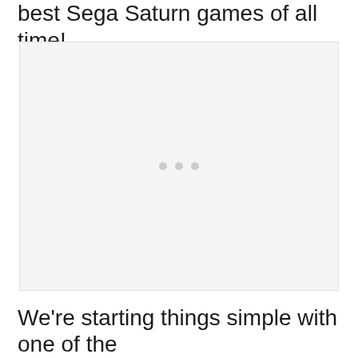best Sega Saturn games of all time!
[Figure (photo): Placeholder image area with three small grey dots centered, indicating a loading or missing image state]
We're starting things simple with one of the